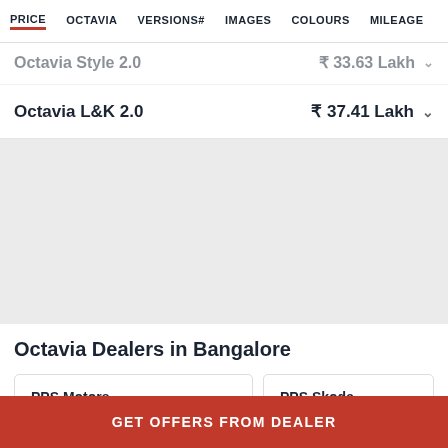PRICE  OCTAVIA  VERSIONS#  IMAGES  COLOURS  MILEAGE
Octavia Style 2.0  ₹ 33.63 Lakh
Octavia L&K 2.0  ₹ 37.41 Lakh
[Figure (other): Grey advertisement or content placeholder block]
Octavia Dealers in Bangalore
PPS Motors
PPS Skoda
GET OFFERS FROM DEALER